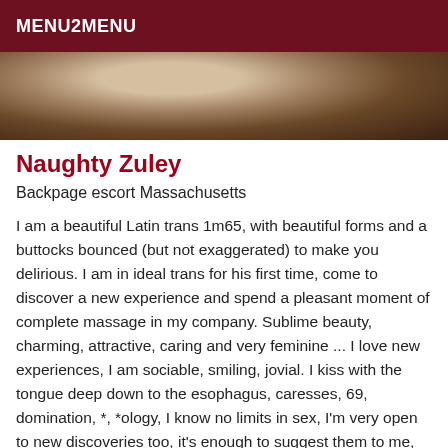MENU2MENU
[Figure (photo): Partial photo of a person in light-colored clothing, cropped close, with warm tones and dark background]
Naughty Zuley
Backpage escort Massachusetts
I am a beautiful Latin trans 1m65, with beautiful forms and a buttocks bounced (but not exaggerated) to make you delirious. I am in ideal trans for his first time, come to discover a new experience and spend a pleasant moment of complete massage in my company. Sublime beauty, charming, attractive, caring and very feminine ... I love new experiences, I am sociable, smiling, jovial. I kiss with the tongue deep down to the esophagus, caresses, 69, domination, *, *ology, I know no limits in sex, I'm very open to new discoveries too, it's enough to suggest them to me, I'll say yes... I want to fuck you in several positions and especially using your body as a propeller and my cock as an axis. So come and